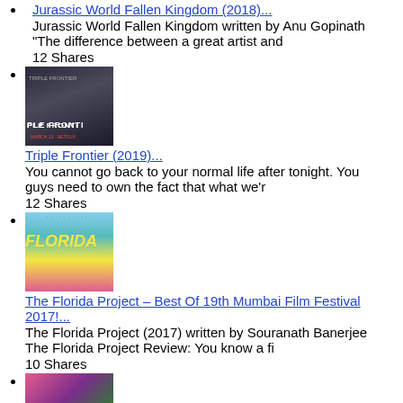Jurassic World Fallen Kingdom (2018)... Jurassic World Fallen Kingdom written by Anu Gopinath "The difference between a great artist and 12 Shares
Triple Frontier (2019)... You cannot go back to your normal life after tonight. You guys need to own the fact that what we'r 12 Shares
The Florida Project – Best Of 19th Mumbai Film Festival 2017!... The Florida Project (2017) written by Souranath Banerjee The Florida Project Review: You know a fi 10 Shares
(fourth item, image only visible)